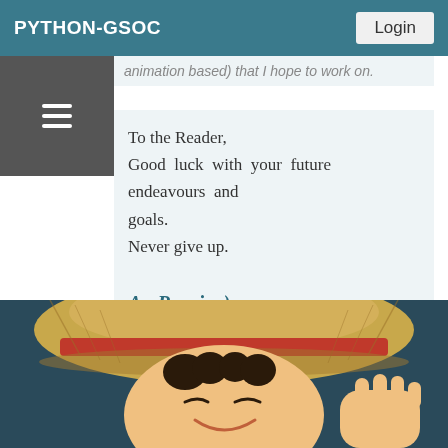PYTHON-GSOC
animation based) that I hope to work on.
To the Reader,
Good luck with your future endeavours and goals.
Never give up.

Au Revoir :)
[Figure (illustration): Anime character (Monkey D. Luffy from One Piece) wearing a straw hat, smiling, with hand raised near face, cropped at bottom of page]